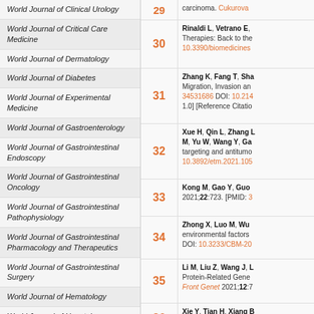World Journal of Clinical Urology
World Journal of Critical Care Medicine
World Journal of Dermatology
World Journal of Diabetes
World Journal of Experimental Medicine
World Journal of Gastroenterology
World Journal of Gastrointestinal Endoscopy
World Journal of Gastrointestinal Oncology
World Journal of Gastrointestinal Pathophysiology
World Journal of Gastrointestinal Pharmacology and Therapeutics
World Journal of Gastrointestinal Surgery
World Journal of Hematology
World Journal of Hepatology
World Journal of Hypertension
World Journal of Immunology
World Journal of Medical Genetics
| Ref # | Reference |
| --- | --- |
| 29 | carcinoma. Cukurova... |
| 30 | Rinaldi L, Vetrano E, ... Therapies: Back to the... 10.3390/biomedicines... |
| 31 | Zhang K, Fang T, Sha... Migration, Invasion an... 34531686 DOI: 10.214... 1.0] [Reference Citatio... |
| 32 | Xue H, Qin L, Zhang ... M, Yu W, Wang Y, Ga... targeting and antitumo... 10.3892/etm.2021.105... |
| 33 | Kong M, Gao Y, Guo ... 2021;22:723. [PMID: 3... |
| 34 | Zhong X, Luo M, Wu... environmental factors... DOI: 10.3233/CBM-20... |
| 35 | Li M, Liu Z, Wang J, ... Protein-Related Gene... Front Genet 2021;12:7... |
| 36 | Xie Y, Tian H, Xiang B... sorafenib for intermed... |